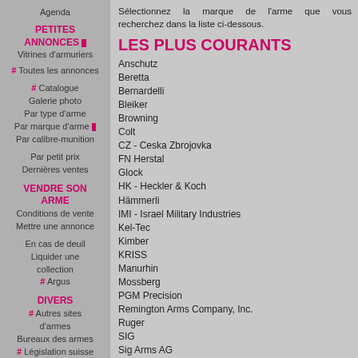Agenda
PETITES ANNONCES
Vitrines d'armuriers
# Toutes les annonces
# Catalogue
Galerie photo
Par type d'arme
Par marque d'arme
Par calibre-munition
Par petit prix
Dernières ventes
VENDRE SON ARME
Conditions de vente
Mettre une annonce
En cas de deuil
Liquider une collection
# Argus
DIVERS
# Autres sites d'armes
Bureaux des armes
# Législation suisse
Sélectionnez la marque de l'arme que vous recherchez dans la liste ci-dessous.
LES PLUS COURANTS
Anschutz
Beretta
Bernardelli
Bleiker
Browning
Colt
CZ - Ceska Zbrojovka
FN Herstal
Glock
HK - Heckler & Koch
Hämmerli
IMI - Israel Military Industries
Kel-Tec
Kimber
KRISS
Manurhin
Mossberg
PGM Precision
Remington Arms Company, Inc.
Ruger
SIG
Sig Arms AG
Sig Sauer
Smith & Wesson
Sphinx